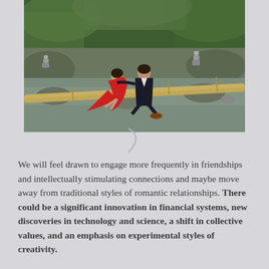[Figure (photo): A couple, a woman in a red dress and a man in a dark suit, sitting together on a large bamboo pole crossing a rocky river in a lush tropical forest setting.]
We will feel drawn to engage more frequently in friendships and intellectually stimulating connections and maybe move away from traditional styles of romantic relationships. There could be a significant innovation in financial systems, new discoveries in technology and science, a shift in collective values, and an emphasis on experimental styles of creativity.